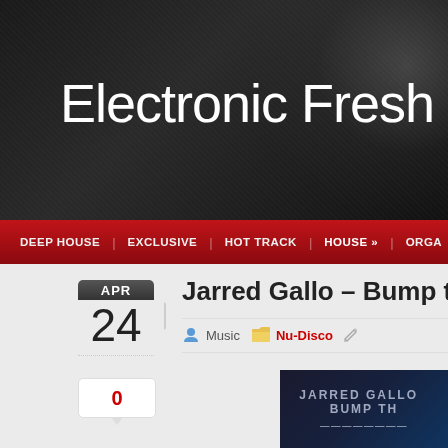Electronic Fresh
DEEP HOUSE | EXCLUSIVE | HOT TRACK | HOUSE » | ORGA
Jarred Gallo – Bump the F
Music  Nu-Disco
APR 24
0
[Figure (screenshot): Album art thumbnail showing 'JARRED GALLO BUMP TH' text on dark blue background]